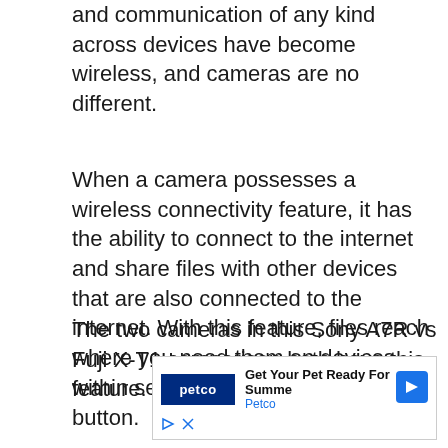and communication of any kind across devices have become wireless, and cameras are no different.
When a camera possesses a wireless connectivity feature, it has the ability to connect to the internet and share files with other devices that are also connected to the internet. With this feature, files reach where you need them on devices within seconds by just pushing a button.
The two cameras in this Sony A7R vs Fuji X-T1 comparison both have this feature.
[Figure (other): Petco advertisement banner: 'Get Your Pet Ready For Summe' with Petco logo and blue arrow icon]